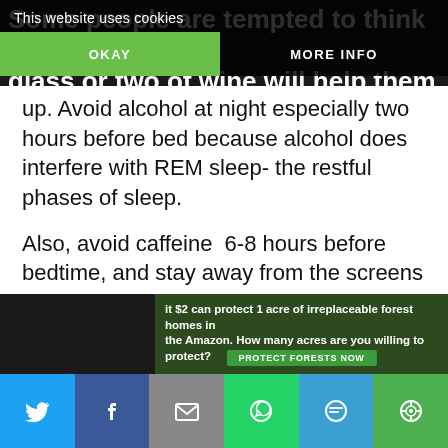Some people are tempted to think that a glass or two of wine will help them unwind, that wine will wake you up.
This website uses cookies
OKAY
MORE INFO
up. Avoid alcohol at night especially two hours before bed because alcohol does interfere with REM sleep- the restful phases of sleep.
Also, avoid caffeine  6-8 hours before bedtime, and stay away from the screens too.
[Figure (screenshot): Advertisement banner: 'it $2 can protect 1 acre of irreplaceable forest homes in the Amazon. How many acres are you willing to protect?' with a PROTECT FORESTS NOW button, overlaid on a forest image.]
[Figure (infographic): Social sharing bar with icons for Twitter, Facebook, Email, WhatsApp, SMS, and a more/share button.]